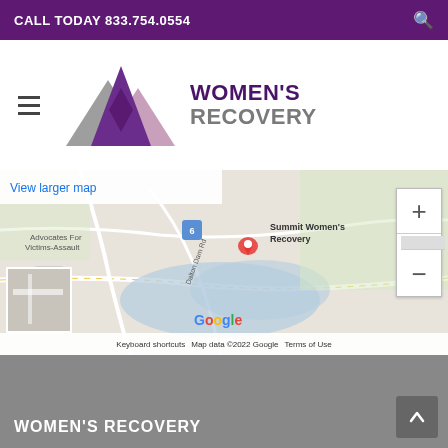CALL TODAY 833.754.0554
[Figure (logo): Women's Recovery logo with mountain triangles in gray, purple, and pink, alongside the text WOMEN'S RECOVERY]
[Figure (map): Google Maps embed showing Summit Women's Recovery location with roads, a red location pin, zoom controls, satellite thumbnail, and Google branding. Map data ©2022 Google. View larger map link visible.]
View larger map
WOMEN'S RECOVERY